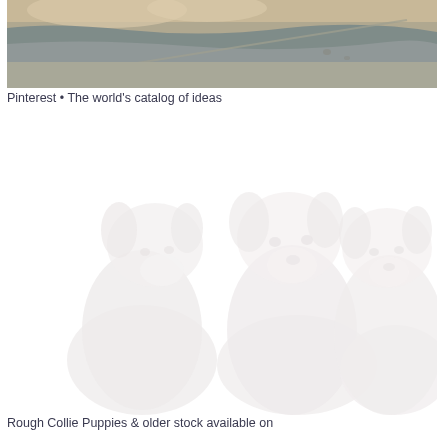[Figure (photo): A close-up photo of what appears to be puppies or animals near a stone or metal trough/surface, cropped at the top portion showing fur and a stone/metal edge.]
Pinterest • The world's catalog of ideas
[Figure (photo): A very faded/washed-out photo of three Rough Collie puppies sitting together, facing the camera. The image is heavily overexposed or faded making the puppies appear ghostly white.]
Rough Collie Puppies & older stock available on